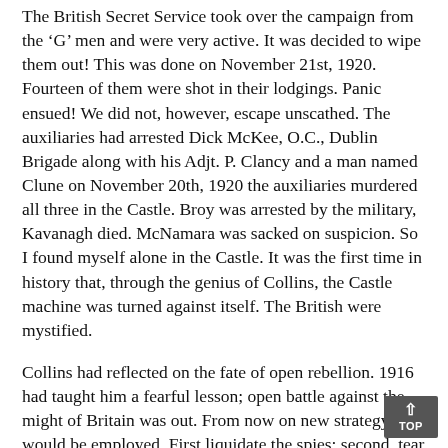The British Secret Service took over the campaign from the 'G' men and were very active. It was decided to wipe them out! This was done on November 21st, 1920. Fourteen of them were shot in their lodgings. Panic ensued! We did not, however, escape unscathed. The auxiliaries had arrested Dick McKee, O.C., Dublin Brigade along with his Adjt. P. Clancy and a man named Clune on November 20th, 1920 the auxiliaries murdered all three in the Castle. Broy was arrested by the military, Kavanagh died. McNamara was sacked on suspicion. So I found myself alone in the Castle. It was the first time in history that, through the genius of Collins, the Castle machine was turned against itself. The British were mystified.
Collins had reflected on the fate of open rebellion. 1916 had taught him a fearful lesson; open battle against the might of Britain was out. From now on new strategy would be employed. First liquidate the spies; second, tear down and destroy the fabric of civil government and so smash the British power